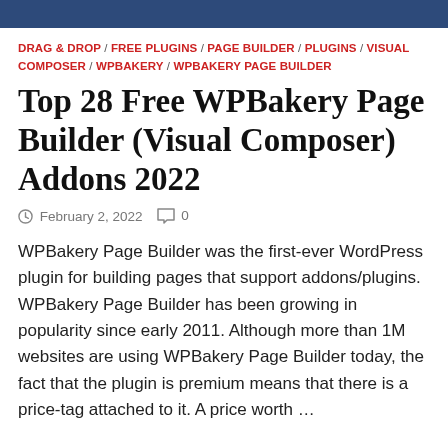DRAG & DROP / FREE PLUGINS / PAGE BUILDER / PLUGINS / VISUAL COMPOSER / WPBAKERY / WPBAKERY PAGE BUILDER
Top 28 Free WPBakery Page Builder (Visual Composer) Addons 2022
February 2, 2022  0
WPBakery Page Builder was the first-ever WordPress plugin for building pages that support addons/plugins. WPBakery Page Builder has been growing in popularity since early 2011. Although more than 1M websites are using WPBakery Page Builder today, the fact that the plugin is premium means that there is a price-tag attached to it. A price worth …